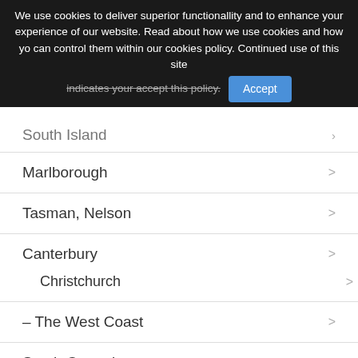We use cookies to deliver superior functionallity and to enhance your experience of our website. Read about how we use cookies and how you can control them within our cookies policy. Continued use of this site indicates your acceptance of this policy.
South Island
Marlborough
Tasman, Nelson
Canterbury
Christchurch
– The West Coast
South Canterbury
Otago
Southern Lakes, Fiordland